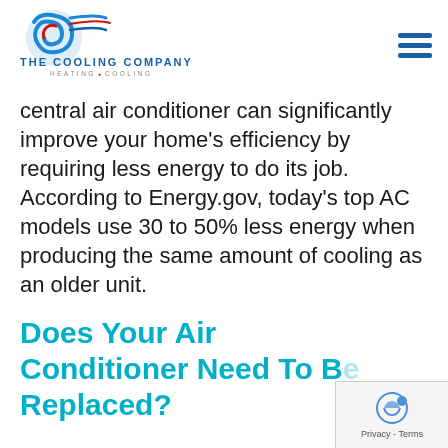[Figure (logo): The Cooling Company — Heating & Cooling logo with blue swirl icon and company name text]
central air conditioner can significantly improve your home's efficiency by requiring less energy to do its job. According to Energy.gov, today's top AC models use 30 to 50% less energy when producing the same amount of cooling as an older unit.
Does Your Air Conditioner Need To Be Replaced?